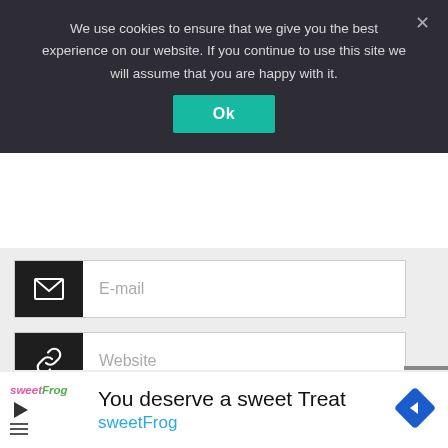We use cookies to ensure that we give you the best experience on our website. If you continue to use this site we will assume that you are happy with it.
[Figure (screenshot): Cookie consent banner with 'Ok' button and close X, overlaying a web form with E-mail and Website input fields, a mailing list checkbox, Submit button, and a sweetFrog advertisement below.]